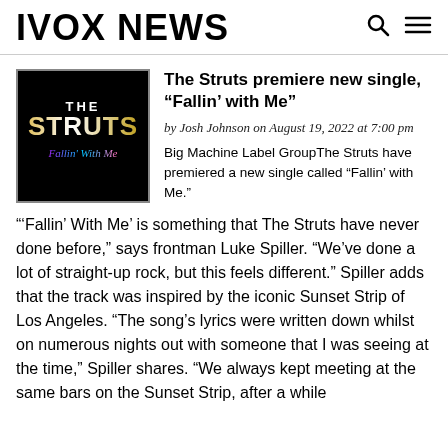IVOX NEWS
[Figure (illustration): Album art for The Struts 'Fallin' With Me' single — black background with stylized text 'THE STRUTS' and 'Fallin With Me' in colorful script]
The Struts premiere new single, “Fallin’ with Me”
by Josh Johnson on August 19, 2022 at 7:00 pm
Big Machine Label GroupThe Struts have premiered a new single called “Fallin’ with Me.”
“‘Fallin’ With Me’ is something that The Struts have never done before,” says frontman Luke Spiller. “We’ve done a lot of straight-up rock, but this feels different.” Spiller adds that the track was inspired by the iconic Sunset Strip of Los Angeles. “The song’s lyrics were written down whilst on numerous nights out with someone that I was seeing at the time,” Spiller shares. “We always kept meeting at the same bars on the Sunset Strip, and after a while...